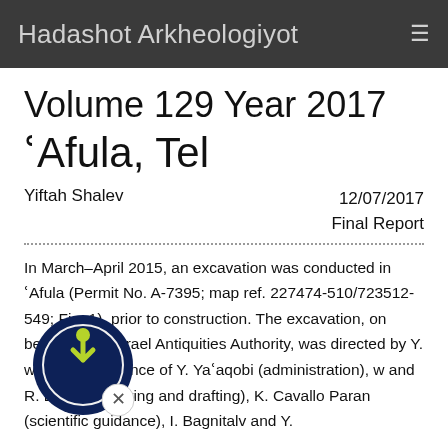Hadashot Arkheologiyot
Volume 129 Year 2017
ʿAfula, Tel
Yiftah Shalev
12/07/2017
Final Report
In March–April 2015, an excavation was conducted in ʿAfula (Permit No. A-7395; map ref. 227474-510/723512-549; Fig. 1), prior to construction. The excavation, on behalf of the Israel Antiquities Authority, was directed by Y. with the assistance of Y. Yaʿaqobi (administration), w and R. Liran (surveying and drafting), K. Cavallo Paran (scientific guidance), I. Bagnitalv and Y.